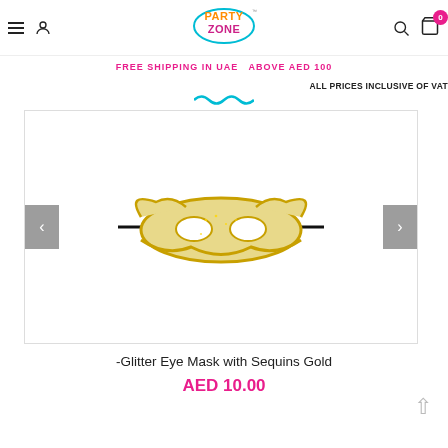Party Zone - FREE SHIPPING IN UAE ABOVE AED 100 - ALL PRICES INCLUSIVE OF VAT
FREE SHIPPING IN UAE  ABOVE AED 100
ALL PRICES INCLUSIVE OF VAT
[Figure (photo): Gold glitter masquerade eye mask with sequins and gold border, held on a stick, centered on white background inside a bordered product image carousel]
-Glitter Eye Mask with Sequins Gold
AED 10.00